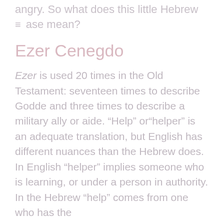angry. So what does this little Hebrew phrase mean?
Ezer Cenegdo
Ezer is used 20 times in the Old Testament: seventeen times to describe Godde and three times to describe a military ally or aide. “Help” or“helper” is an adequate translation, but English has different nuances than the Hebrew does. In English “helper” implies someone who is learning, or under a person in authority. In the Hebrew “help” comes from one who has the